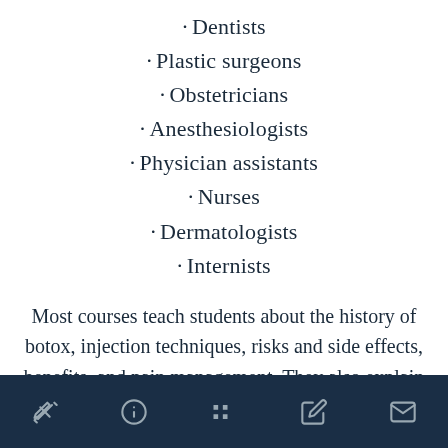· Dentists
· Plastic surgeons
· Obstetricians
· Anesthesiologists
· Physician assistants
· Nurses
· Dermatologists
· Internists
Most courses teach students about the history of botox, injection techniques, risks and side effects, benefits, and pain management. They also explain the anatomy of facial and neck muscles, and offer comprehensive information about preparation, formulation, and storage of botox. Participants can also learn about the most popular types of fillers.